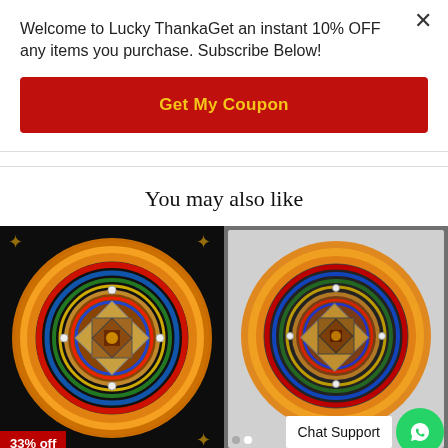Welcome to Lucky ThankaGet an instant 10% OFF any items you purchase. Subscribe Below!
Get My Coupon
You may also like
[Figure (photo): Tibetan Mandala Thangka art - circular mandala with orange background and black border, 33% off badge]
Tibetan Mandala Thangka art
[Figure (photo): Tibetan kalchakra Mandala - circular mandala with orange background and grey border, with chat support widget overlay]
Tibetan kalchakra Mandala
Chat Support